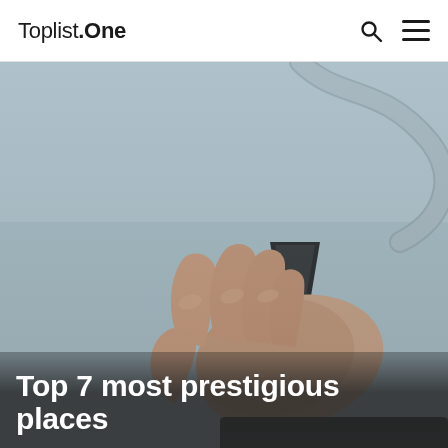Toplist.One
[Figure (photo): A hand holding an ultrasound probe/transducer against a surface, with a cable arching over the top. The background is muted blue-grey tones. A medical imaging device is partially visible at the bottom.]
Top 7 most prestigious places